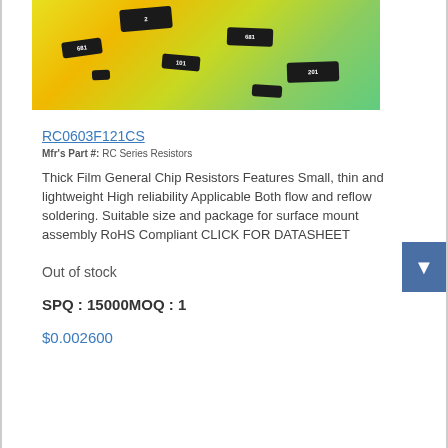[Figure (photo): Product photo showing multiple SMD chip resistors on a colorful yellow-green gradient background]
RC0603F121CS
Mfr's Part #: RC Series Resistors
Thick Film General Chip Resistors Features Small, thin and lightweight High reliability Applicable Both flow and reflow soldering. Suitable size and package for surface mount assembly RoHS Compliant CLICK FOR DATASHEET
Out of stock
SPQ : 15000MOQ : 1
$0.002600